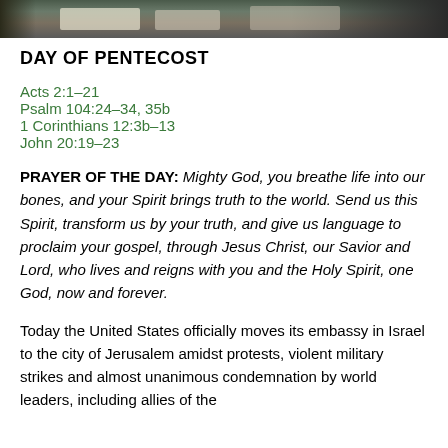[Figure (photo): Outdoor photograph strip showing vehicles or street scene, partially visible at top of page]
DAY OF PENTECOST
Acts 2:1–21
Psalm 104:24–34, 35b
1 Corinthians 12:3b–13
John 20:19–23
PRAYER OF THE DAY: Mighty God, you breathe life into our bones, and your Spirit brings truth to the world. Send us this Spirit, transform us by your truth, and give us language to proclaim your gospel, through Jesus Christ, our Savior and Lord, who lives and reigns with you and the Holy Spirit, one God, now and forever.
Today the United States officially moves its embassy in Israel to the city of Jerusalem amidst protests, violent military strikes and almost unanimous condemnation by world leaders, including allies of the